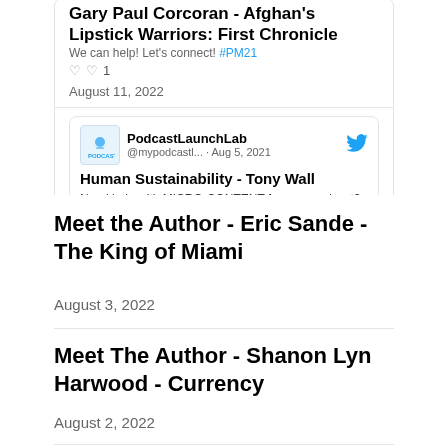Gary Paul Corcoran - Afghan's Lipstick Warriors: First Chronicle
We can help! Let's connect! #PM21
1
August 11, 2022
[Figure (screenshot): Tweet from PodcastLaunchLab (@mypodcastl...) dated Aug 5, 2021. Title: Human Sustainability - Tony Wall. Body: Need help with MICRO-CONTENT for your podcast? We can help! Let's connect! #PM21]
August 4, 2022
Meet the Author - Eric Sande - The King of Miami
August 3, 2022
Meet The Author - Shanon Lyn Harwood - Currency
August 2, 2022